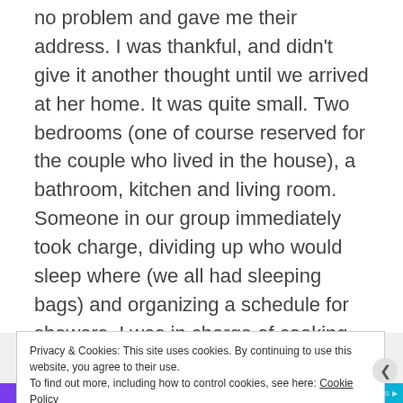no problem and gave me their address. I was thankful, and didn't give it another thought until we arrived at her home. It was quite small. Two bedrooms (one of course reserved for the couple who lived in the house), a bathroom, kitchen and living room. Someone in our group immediately took charge, dividing up who would sleep where (we all had sleeping bags) and organizing a schedule for showers. I was in charge of cooking so sorted out who would help with that. It worked out beautifully – yes, crowded but everyone remained in a good mood, evenings spent singing songs with the couple
Privacy & Cookies: This site uses cookies. By continuing to use this website, you agree to their use.
To find out more, including how to control cookies, see here: Cookie Policy
Close and accept